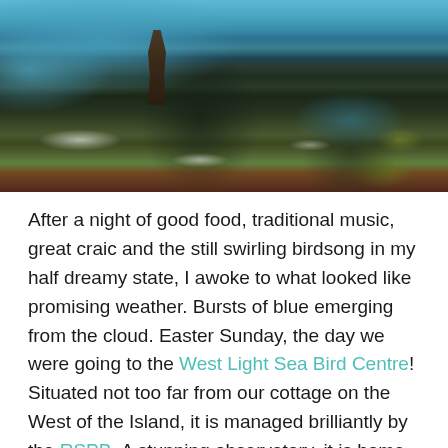[Figure (photo): Aerial view of rugged coastal cliffs with dark rocky formations, turquoise ocean waves, and a tall rock spire. Green and yellow lichen visible on the cliff edges. Northern Ireland coastline.]
After a night of good food, traditional music, great craic and the still swirling birdsong in my half dreamy state, I awoke to what looked like promising weather. Bursts of blue emerging from the cloud. Easter Sunday, the day we were going to the West Light Sea Bird Centre! Situated not too far from our cottage on the West of the Island, it is managed brilliantly by the RSPB. A stunning observatory, it is home to the largest seabird colony in Northern Ireland. I was so excited!